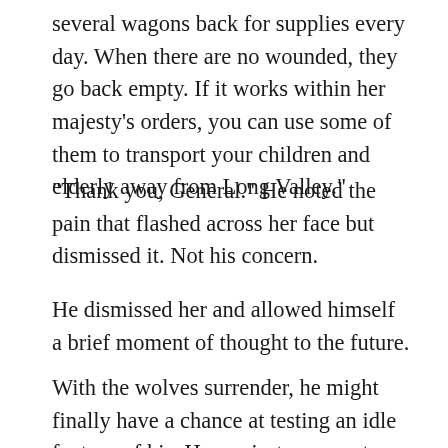several wagons back for supplies every day. When there are no wounded, they go back empty. If it works within her majesty’s orders, you can use some of them to transport your children and elderly away from Long Valley.”
“Thank you, General.” He noted the pain that flashed across her face but dismissed it. Not his concern.
He dismissed her and allowed himself a brief moment of thought to the future.
With the wolves surrender, he might finally have a chance at testing an idle fantasy of his. Her majesty was not one to waste a resource,